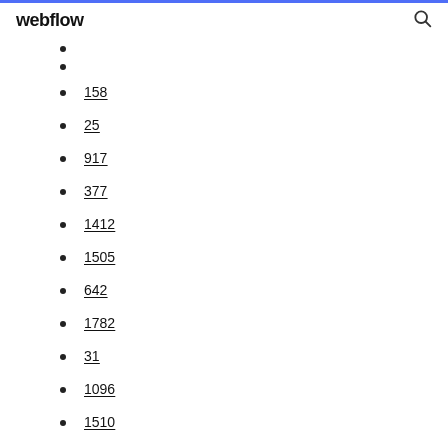webflow
158
25
917
377
1412
1505
642
1782
31
1096
1510